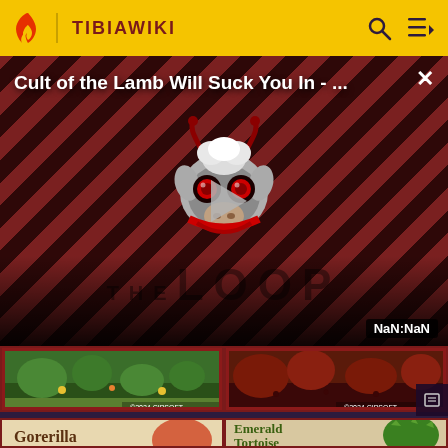TIBIAWIKI
[Figure (screenshot): Video overlay with diagonal red/dark stripe pattern background, showing a creature mascot (lamb/bull face with red eyes, horns), play button, title text 'Cult of the Lamb Will Suck You In - ...', THE LOOP watermark text, and NaN:NaN duration badge]
[Figure (illustration): Sulphur Spouter Artwork card showing green nature scene with Cipsoft copyright]
[Figure (illustration): Shrieking Cry-Stal Artwork card showing red/dark scene with Cipsoft copyright]
Sulphur Spouter Artwork
Shrieking Cry-Stal Artwork
[Figure (illustration): Gorerilla card - beige background with creature]
[Figure (illustration): Emerald Tortoise card - green spiked tortoise]